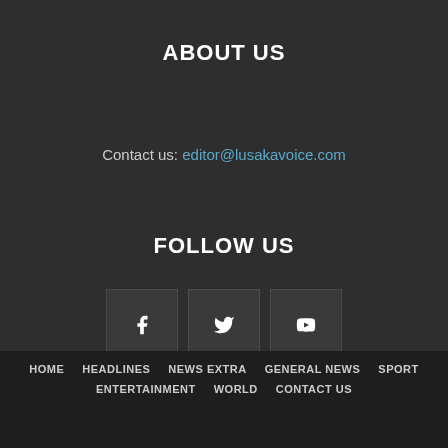ABOUT US
Contact us: editor@lusakavoice.com
FOLLOW US
[Figure (other): Three social media icon buttons: Facebook (f), Twitter (bird icon), YouTube (play button)]
HOME  HEADLINES  NEWS EXTRA  GENERAL NEWS  SPORT  ENTERTAINMENT  WORLD  CONTACT US